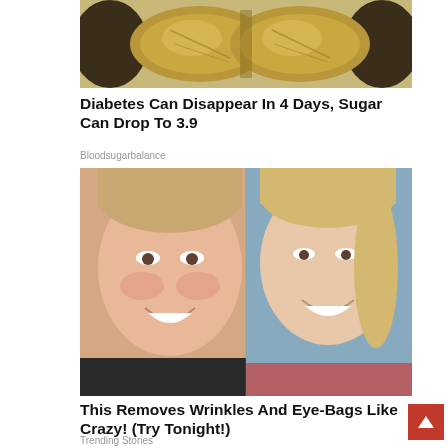[Figure (photo): Close-up photo of nutmeg seeds/nuts, showing golden-brown seeds with dark mottled outer shell, partially cropped at top]
Diabetes Can Disappear In 4 Days, Sugar Can Drop To 3.9
Bloodsugarbalance
[Figure (photo): Before and after comparison of a woman's face: left side shows woman with rosy complexion and slight puffiness, right side shows same or similar woman with clearer, more refined complexion. Both women are smiling and blonde.]
This Removes Wrinkles And Eye-Bags Like Crazy! (Try Tonight!)
Trending Stories